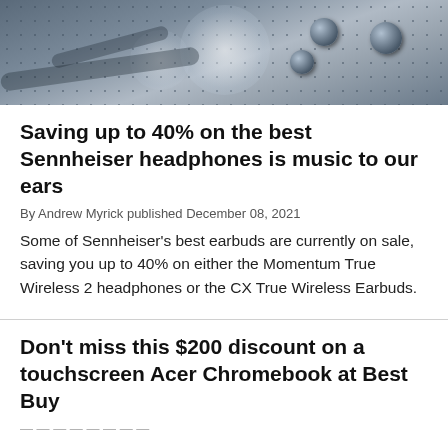[Figure (photo): Close-up photo of headphone earbuds on a textured surface with screws visible, dark metallic tones]
Saving up to 40% on the best Sennheiser headphones is music to our ears
By Andrew Myrick published December 08, 2021
Some of Sennheiser's best earbuds are currently on sale, saving you up to 40% on either the Momentum True Wireless 2 headphones or the CX True Wireless Earbuds.
Don't miss this $200 discount on a touchscreen Acer Chromebook at Best Buy